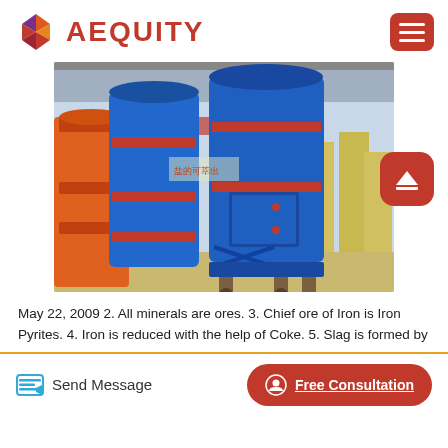AEQUITY
[Figure (photo): Industrial blue and orange cylindrical grinding mill machines in a factory/warehouse setting. Large blue cylindrical vessels on metal legs with red accent bands, orange vessel visible on the left side. Chinese text banner visible in background.]
May 22, 2009 2. All minerals are ores. 3. Chief ore of Iron is Iron Pyrites. 4. Iron is reduced with the help of Coke. 5. Slag is formed by
Send Message | Free Consultation